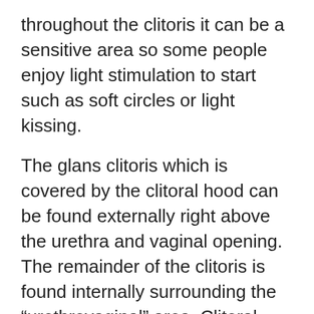throughout the clitoris it can be a sensitive area so some people enjoy light stimulation to start such as soft circles or light kissing.
The glans clitoris which is covered by the clitoral hood can be found externally right above the urethra and vaginal opening. The remainder of the clitoris is found internally surrounding the “urethrovaginal” area. Clitoral photo found at http://www.scarleteen.com/article/bodies/with_pleasure_a_view_of_whole_sexual_anatomy_for_every_bo